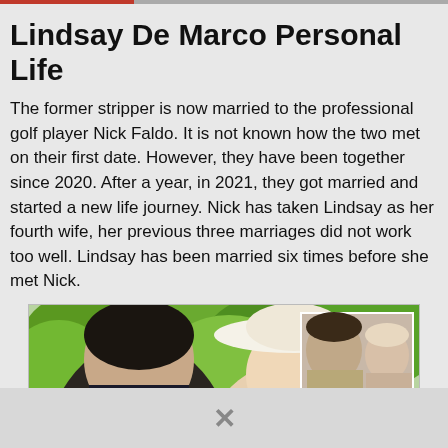Lindsay De Marco Personal Life
The former stripper is now married to the professional golf player Nick Faldo. It is not known how the two met on their first date. However, they have been together since 2020. After a year, in 2021, they got married and started a new life journey. Nick has taken Lindsay as her fourth wife, her previous three marriages did not work too well. Lindsay has been married six times before she met Nick.
[Figure (photo): A couple outdoors with green trees in background; woman wearing a white wide-brim hat, man in dark clothing. An inset photo in top-right corner shows a closer portrait of a man and a woman.]